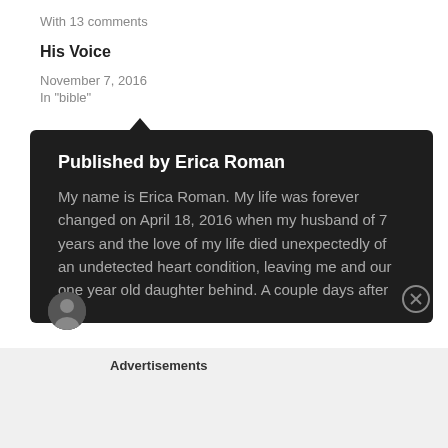With 13 comments
His Voice
November 7, 2016
In "bible"
Published by Erica Roman
My name is Erica Roman. My life was forever changed on April 18, 2016 when my husband of 7 years and the love of my life died unexpectedly of an undetected heart condition, leaving me and our one year old daughter behind. A couple days after
Advertisements